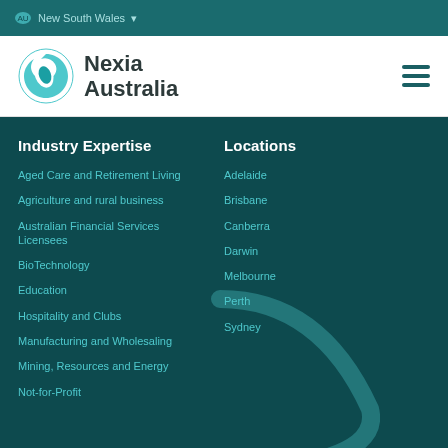New South Wales
[Figure (logo): Nexia Australia logo with teal swirl icon and text]
Industry Expertise
Aged Care and Retirement Living
Agriculture and rural business
Australian Financial Services Licensees
BioTechnology
Education
Hospitality and Clubs
Manufacturing and Wholesaling
Mining, Resources and Energy
Not-for-Profit
Locations
Adelaide
Brisbane
Canberra
Darwin
Melbourne
Perth
Sydney